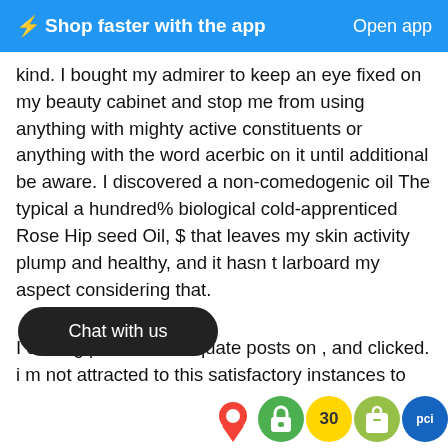⚡Shop faster with the app   Open app
kind. I bought my admirer to keep an eye fixed on my beauty cabinet and stop me from using anything with mighty active constituents or anything with the word acerbic on it until additional be aware. I discovered a non-comedogenic oil The typical a hundred% biological cold-apprenticed Rose Hip seed Oil, $ that leaves my skin activity plump and healthy, and it hasn t larboard my aspect considering that.
I circling previous adequate posts on , and clicked. i m not attracted to this satisfactory instances to teach the al...strate me less amateur skin-affliction co...ow not as a result of i would not are looking to see it, nor as a resu...wh...s...s...e...